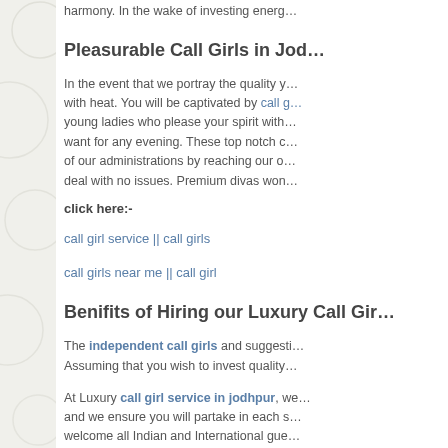harmony. In the wake of investing energ…
Pleasurable Call Girls in Jod…
In the event that we portray the quality y… with heat. You will be captivated by call g… young ladies who please your spirit with… want for any evening. These top notch c… of our administrations by reaching our o… deal with no issues. Premium divas won…
click here:-
call girl service || call girls
call girls near me || call girl
Benifits of Hiring our Luxury Call Gir…
The independent call girls and suggesti… Assuming that you wish to invest quality…
At Luxury call girl service in jodhpur, we… and we ensure you will partake in each s… welcome all Indian and International gue… awesome association for you. We are th…
For what reason to Choose our Jodh…